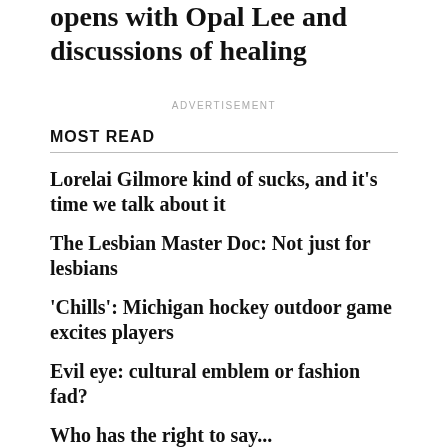opens with Opal Lee and discussions of healing
ADVERTISEMENT
MOST READ
Lorelai Gilmore kind of sucks, and it's time we talk about it
The Lesbian Master Doc: Not just for lesbians
'Chills': Michigan hockey outdoor game excites players
Evil eye: cultural emblem or fashion fad?
Who has the right to say...
The Seven Stages of Omicron